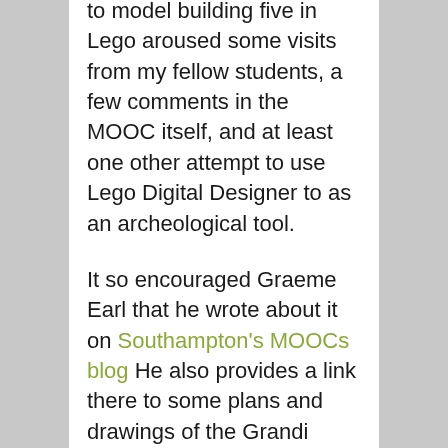to model building five in Lego aroused some visits from my fellow students, a few comments in the MOOC itself, and at least one other attempt to use Lego Digital Designer to as an archeological tool.
It so encouraged Graeme Earl that he wrote about it on Southampton's MOOCs blog He also provides a link there to some plans and drawings of the Grandi Magazzini Di Settimio Severo that he persuaded Grant Cox (he of the astounding computer models) and Christina Triantafillou to